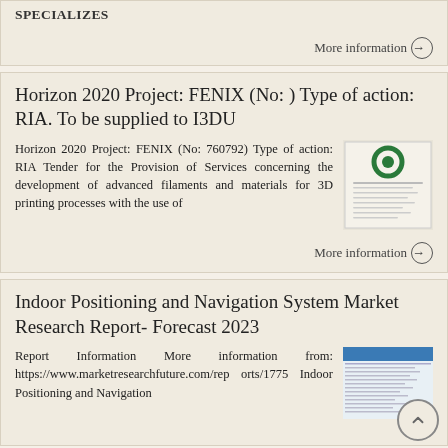specializes
More information →
Horizon 2020 Project: FENIX (No: ) Type of action: RIA. To be supplied to I3DU
Horizon 2020 Project: FENIX (No: 760792) Type of action: RIA Tender for the Provision of Services concerning the development of advanced filaments and materials for 3D printing processes with the use of
[Figure (photo): Thumbnail image of a document with a green circular logo]
More information →
Indoor Positioning and Navigation System Market Research Report- Forecast 2023
Report Information More information from: https://www.marketresearchfuture.com/reports/1775 Indoor Positioning and Navigation
[Figure (photo): Thumbnail image of a document with blue header]